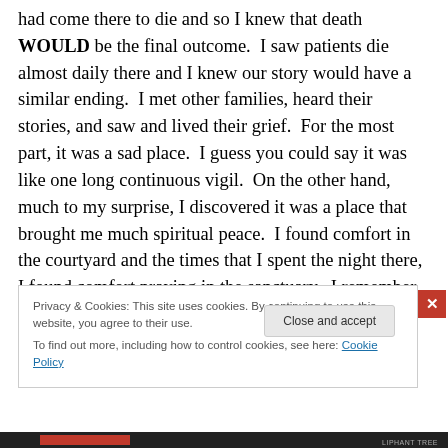had come there to die and so I knew that death WOULD be the final outcome.  I saw patients die almost daily there and I knew our story would have a similar ending.  I met other families, heard their stories, and saw and lived their grief.  For the most part, it was a sad place.  I guess you could say it was like one long continuous vigil.  On the other hand, much to my surprise, I discovered it was a place that brought me much spiritual peace.  I found comfort in the courtyard and the times that I spent the night there, I found comfort praying in the sanctuary.  I remember in particular a beautiful tree outside of the
Privacy & Cookies: This site uses cookies. By continuing to use this website, you agree to their use.
To find out more, including how to control cookies, see here: Cookie Policy
Close and accept